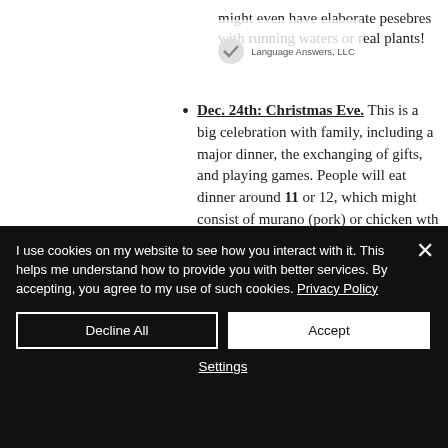might even have elaborate pesebres with running waters or real plants!
[Figure (screenshot): Language Answers UI overlay with checkmark icon]
[Figure (screenshot): Spanish flag language selector dropdown button]
Dec. 24th: Christmas Eve. This is a big celebration with family, including a major dinner, the exchanging of gifts, and playing games. People will eat dinner around 11 or 12, which might consist of murano (pork) or chicken wth salad, rice, potatoes, vegetables and desserts. Aguardiente is a popular
I use cookies on my website to see how you interact with it. This helps me understand how to provide you with better services. By accepting, you agree to my use of such cookies. Privacy Policy

Decline All   Accept

Settings